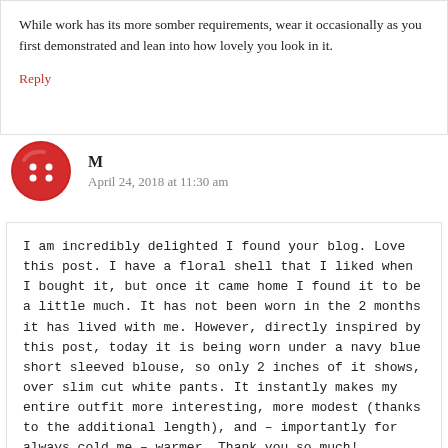While work has its more somber requirements, wear it occasionally as you first demonstrated and lean into how lovely you look in it.
Reply
[Figure (illustration): Red circular button avatar with four white dots arranged in a 2x2 pattern]
M
April 24, 2018 at 11:30 am
I am incredibly delighted I found your blog. Love this post. I have a floral shell that I liked when I bought it, but once it came home I found it to be a little much. It has not been worn in the 2 months it has lived with me. However, directly inspired by this post, today it is being worn under a navy blue short sleeved blouse, so only 2 inches of it shows, over slim cut white pants. It instantly makes my entire outfit more interesting, more modest (thanks to the additional length), and – importantly for always cold me – warmer. Thank you so much!